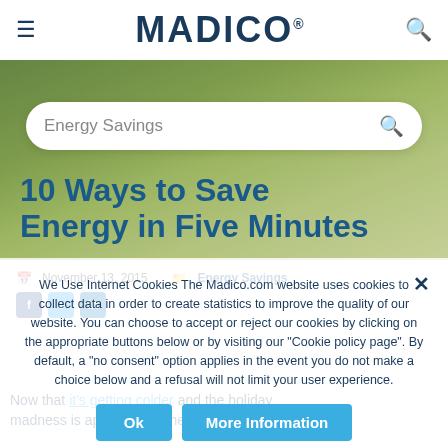MADICO® — navigation header with hamburger menu and search icon
[Figure (screenshot): Hero background image showing green lawn/garden scene with decorative objects]
Energy Savings (search bar)
10 Ways to Save Energy in Five Minutes
November 13, 2015   Energy Savings
[Figure (illustration): Social media icons: Facebook, Twitter, LinkedIn]
We Use Internet Cookies The Madico.com website uses cookies to collect data in order to create statistics to improve the quality of our website. You can choose to accept or reject our cookies by clicking on the appropriate buttons below or by visiting our "Cookie policy page". By default, a "no consent" option applies in the event you do not make a choice below and a refusal will not limit your user experience.
Ok   More Information
Now that it's getting colder and the holiday madness is approaching, here are some super